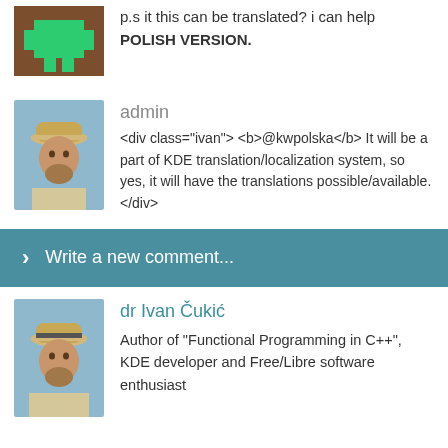p.s it this can be translated? i can help POLISH VERSION.
admin
<div class="ivan"> <b>@kwpolska</b> It will be a part of KDE translation/localization system, so yes, it will have the translations possible/available. </div>
Write a new comment...
dr Ivan Čukić
Author of "Functional Programming in C++", KDE developer and Free/Libre software enthusiast